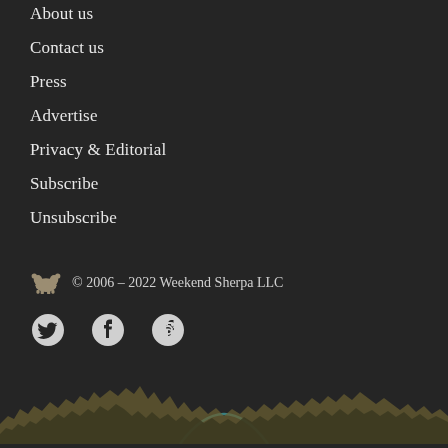About us
Contact us
Press
Advertise
Privacy & Editorial
Subscribe
Unsubscribe
© 2006 – 2022 Weekend Sherpa LLC
[Figure (illustration): Social media icons: Twitter bird, Facebook circle, Instagram camera circle]
[Figure (illustration): Mountain silhouette landscape with teal arc/moon over jagged mountain ranges against dark background at bottom of page]